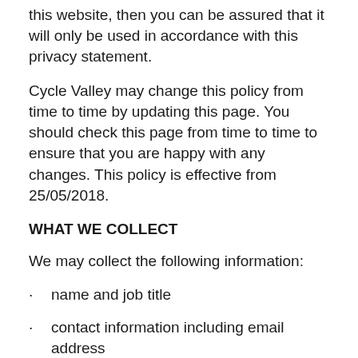this website, then you can be assured that it will only be used in accordance with this privacy statement.
Cycle Valley may change this policy from time to time by updating this page. You should check this page from time to time to ensure that you are happy with any changes. This policy is effective from 25/05/2018.
WHAT WE COLLECT
We may collect the following information:
name and job title
contact information including email address
demographic information such as postcode, preferences and interests